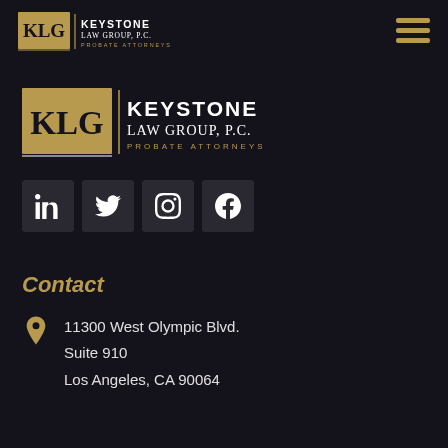Keystone Law Group, P.C. — Probate Attorneys (header logo + menu)
[Figure (logo): Keystone Law Group P.C. Probate Attorneys logo — large version in footer area, gold KLG monogram with serif text]
[Figure (other): Social media icons row: LinkedIn, Twitter, Instagram, Facebook — white icons on dark square backgrounds]
Contact
11300 West Olympic Blvd.
Suite 910
Los Angeles, CA 90064